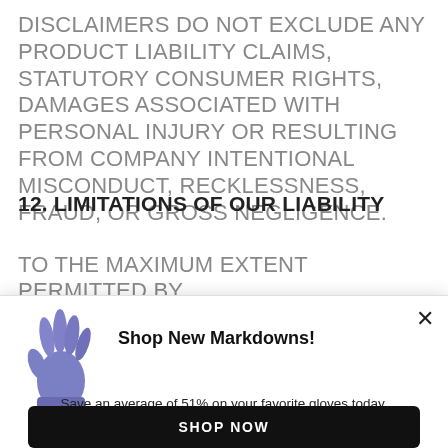DISCLAIMERS DO NOT EXCLUDE ANY PRODUCT LIABILITY CLAIMS, STATUTORY CONSUMER RIGHTS, DAMAGES ASSOCIATED WITH PERSONAL INJURY OR RESULTING FROM COMPANY INTENTIONAL MISCONDUCT, RECKLESSNESS, FRAUD, OR GROSS NEGLIGENCE.
12. LIMITATIONS OF OUR LIABILITY
TO THE MAXIMUM EXTENT PERMITTED BY
[Figure (illustration): A popup/modal advertisement showing a blue/purple latex glove emoji, a close (×) button, the heading 'Shop New Markdowns!', the subtext 'Save an average of 51% on your favorite gloves today.', and a black 'SHOP NOW' button.]